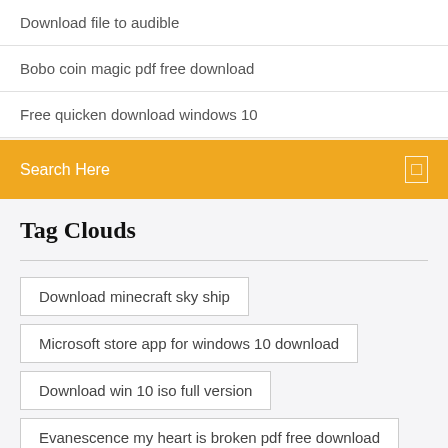Download file to audible
Bobo coin magic pdf free download
Free quicken download windows 10
Search Here
Tag Clouds
Download minecraft sky ship
Microsoft store app for windows 10 download
Download win 10 iso full version
Evanescence my heart is broken pdf free download